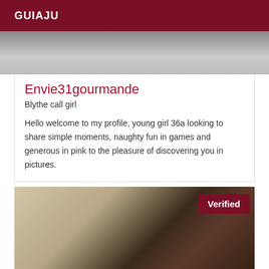GUIAJU
[Figure (photo): Black and white photo of a person outdoors, partially visible at top of card]
Envie31gourmande
Blythe call girl
Hello welcome to my profile, young girl 36a looking to share simple moments, naughty fun in games and generous in pink to the pleasure of discovering you in pictures.
[Figure (photo): Photo of a young woman with long highlighted hair, wearing a white top, indoors with neutral background. A 'Verified' badge appears in the top right corner.]